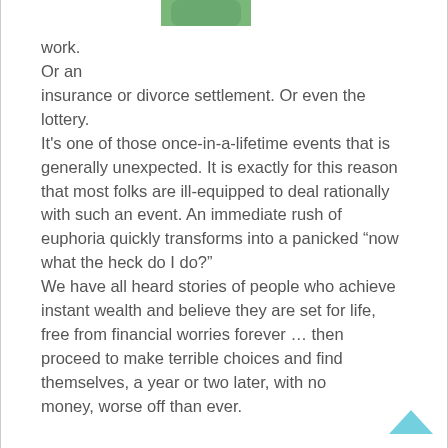[Figure (illustration): Partial green illustration/icon at the top of the page, cropped]
work.
Or an insurance or divorce settlement. Or even the lottery.
It’s one of those once-in-a-lifetime events that is generally unexpected. It is exactly for this reason that most folks are ill-equipped to deal rationally with such an event. An immediate rush of euphoria quickly transforms into a panicked “now what the heck do I do?”
We have all heard stories of people who achieve instant wealth and believe they are set for life, free from financial worries forever … then proceed to make terrible choices and find themselves, a year or two later, with no money, worse off than ever.